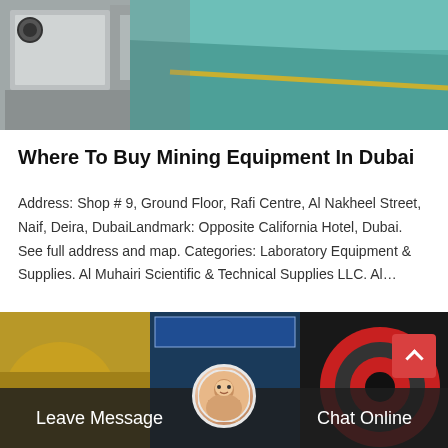[Figure (photo): Industrial/manufacturing facility interior showing heavy machinery (white/grey metal frame) on the left and a green-painted factory floor with a yellow line on the right.]
Where To Buy Mining Equipment In Dubai
Address: Shop # 9, Ground Floor, Rafi Centre, Al Nakheel Street, Naif, Deira, DubaiLandmark: Opposite California Hotel, Dubai. See full address and map. Categories: Laboratory Equipment & Supplies. Al Muhairi Scientific & Technical Supplies LLC. Al…
[Figure (photo): Bottom section showing mining/crushing equipment in an industrial setting with a Chinese banner visible, a customer service representative avatar in the center, a red scroll-to-top button, and a dark bar at the bottom with 'Leave Message' and 'Chat Online' text.]